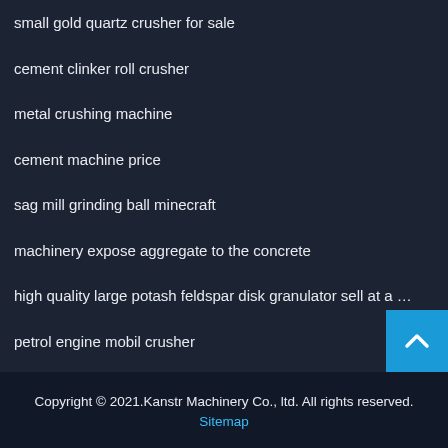small gold quartz crusher for sale
cement clinker roll crusher
metal crushing machine
cement machine price
sag mill grinding ball minecraft
machinery expose aggregate to the concrete
high quality large potash feldspar disk granulator sell at a …
petrol engine mobil crusher
Copyright © 2021.Kanstr Machinery Co., ltd. All rights reserved. Sitemap